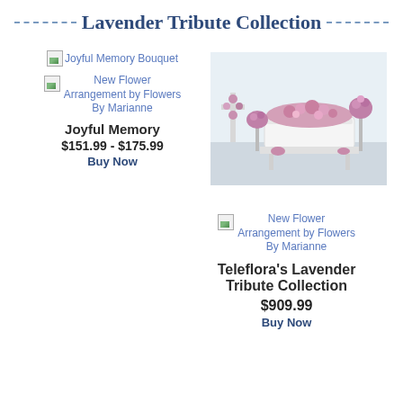Lavender Tribute Collection
[Figure (photo): Broken image placeholder for Joyful Memory Bouquet]
New Flower Arrangement by Flowers By Marianne
Joyful Memory
$151.99 - $175.99
Buy Now
[Figure (photo): Photo of a lavender funeral flower arrangement set including a casket spray, standing cross, and pedestal arrangements in a white room]
[Figure (photo): Broken image placeholder for New Flower Arrangement by Flowers By Marianne]
New Flower Arrangement by Flowers By Marianne
Teleflora's Lavender Tribute Collection
$909.99
Buy Now